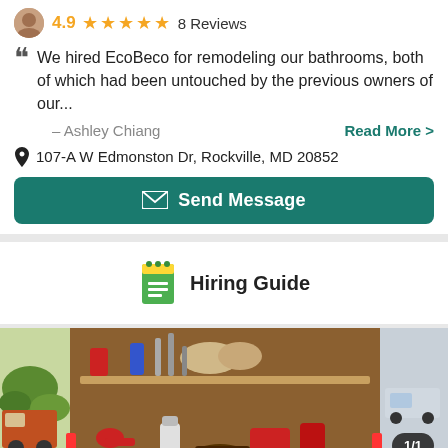4.9 ★★★★★ 8 Reviews
We hired EcoBeco for remodeling our bathrooms, both of which had been untouched by the previous owners of our...
– Ashley Chiang
Read More >
107-A W Edmonston Dr, Rockville, MD 20852
Send Message
Hiring Guide
[Figure (photo): Photo of the back of a work truck with tools and equipment visible, with a '1/1' badge in the bottom right corner.]